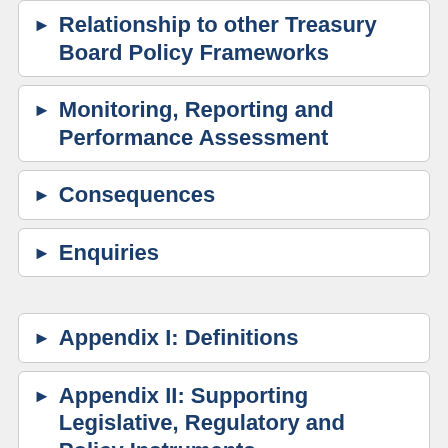▶ Relationship to other Treasury Board Policy Frameworks
▶ Monitoring, Reporting and Performance Assessment
▶ Consequences
▶ Enquiries
▶ Appendix I: Definitions
▶ Appendix II: Supporting Legislative, Regulatory and Policy Instruments